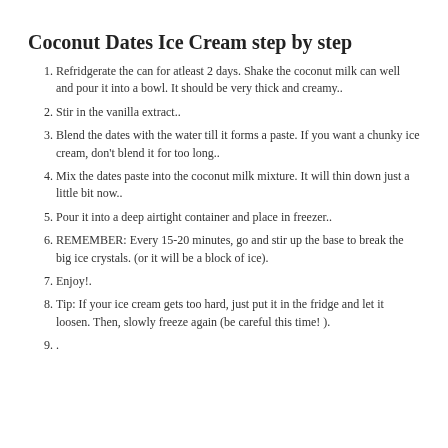Coconut Dates Ice Cream step by step
Refridgerate the can for atleast 2 days. Shake the coconut milk can well and pour it into a bowl. It should be very thick and creamy..
Stir in the vanilla extract..
Blend the dates with the water till it forms a paste. If you want a chunky ice cream, don't blend it for too long..
Mix the dates paste into the coconut milk mixture. It will thin down just a little bit now..
Pour it into a deep airtight container and place in freezer..
REMEMBER: Every 15-20 minutes, go and stir up the base to break the big ice crystals. (or it will be a block of ice).
Enjoy!.
Tip: If your ice cream gets too hard, just put it in the fridge and let it loosen. Then, slowly freeze again (be careful this time! ).
.